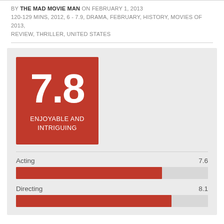BY THE MAD MOVIE MAN ON FEBRUARY 1, 2013
120-129 MINS, 2012, 6 - 7.9, DRAMA, FEBRUARY, HISTORY, MOVIES OF 2013, REVIEW, THRILLER, UNITED STATES
[Figure (infographic): Rating card showing score 7.8 with label ENJOYABLE AND INTRIGUING in a red box, with bar chart rows for Acting (7.6) and Directing (8.1)]
Acting 7.6
Directing 8.1